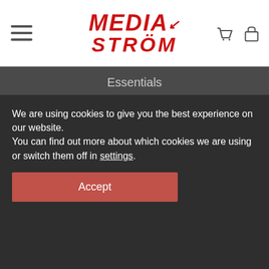Media Strom
Essentials
Mattress Guarantee
DELIVERY INFORMATION
How to Order
Returns / Changes
Payments and Security
Privacy
Terms of use
We are using cookies to give you the best experience on our website.
You can find out more about which cookies we are using or switch them off in settings.
Accept